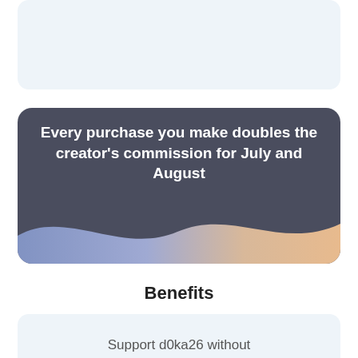[Figure (illustration): Light blue rounded card at the top of the page, partially visible, with no visible content inside.]
Every purchase you make doubles the creator's commission for July and August
Benefits
[Figure (illustration): Light blue rounded card at the bottom of the page, partially cut off, containing the text 'Support d0ka26 without']